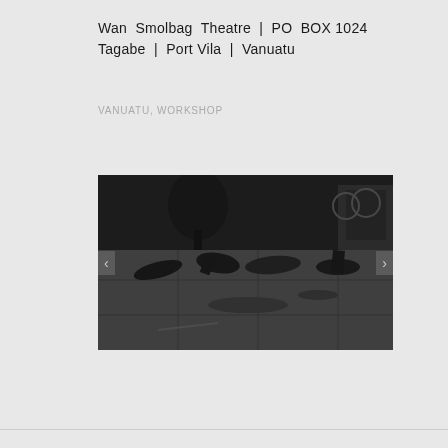Wan Smolbag Theatre | PO BOX 1024 Tagabe | Port Vila | Vanuatu
VANUATU, WORKSHOP
[Figure (photo): Black and white photograph of several people lying or crouching on a large tiled floor in what appears to be an indoor performance or workshop space. Navigation arrows are visible on the left and right edges of the image.]